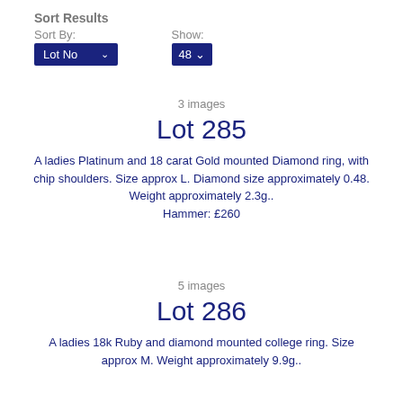Sort Results
Sort By: Lot No   Show: 48
3 images
Lot 285
A ladies Platinum and 18 carat Gold mounted Diamond ring, with chip shoulders. Size approx L. Diamond size approximately 0.48. Weight approximately 2.3g.. Hammer: £260
5 images
Lot 286
A ladies 18k Ruby and diamond mounted college ring. Size approx M. Weight approximately 9.9g..